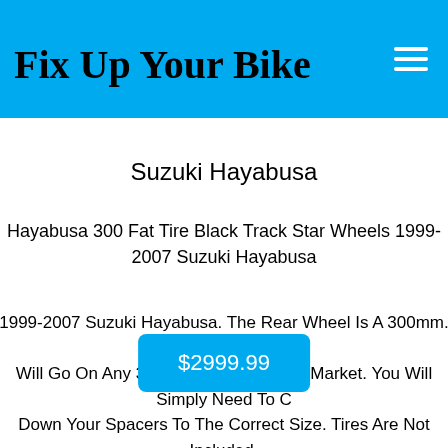Fix Up Your Bike
Suzuki Hayabusa
Hayabusa 300 Fat Tire Black Track Star Wheels 1999-2007 Suzuki Hayabusa
1999-2007 Suzuki Hayabusa. The Rear Wheel Is A 300mm. These Wheels Will Go On Any 300 Swingarm On The Market. You Will Simply Need To Cut Down Your Spacers To The Correct Size. Tires Are Not Included.
$2999.99